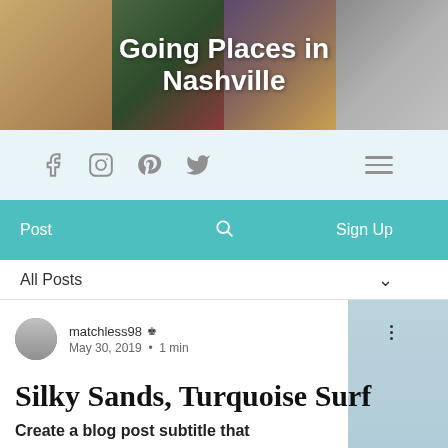[Figure (screenshot): Blog website header with collage of photos and title 'Going Places in Nashville' overlaid in white bold text]
Going Places in Nashville
[Figure (screenshot): Social media icons bar: Facebook, Instagram, Pinterest, Twitter, and hamburger menu icon on light blue background]
[Figure (screenshot): Teal navigation bar with 'Post', search icon, and 'Sign Up' options]
All Posts
matchless98 👑 May 30, 2019 · 1 min
Silky Sands, Turquoise Surf
Create a blog post subtitle that